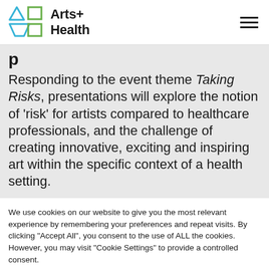[Figure (logo): Arts+ Health logo with cyan triangle and trapezoid shapes and green squares on left, bold text 'Arts+ Health' on right]
Responding to the event theme Taking Risks, presentations will explore the notion of 'risk' for artists compared to healthcare professionals, and the challenge of creating innovative, exciting and inspiring art within the specific context of a health setting.
We use cookies on our website to give you the most relevant experience by remembering your preferences and repeat visits. By clicking "Accept All", you consent to the use of ALL the cookies. However, you may visit "Cookie Settings" to provide a controlled consent.